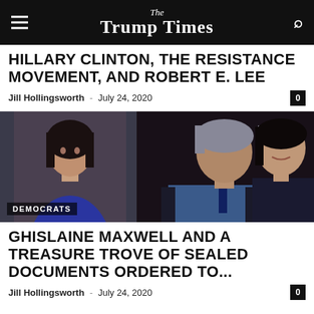The Trump Times
HILLARY CLINTON, THE RESISTANCE MOVEMENT, AND ROBERT E. LEE
Jill Hollingsworth - July 24, 2020  0
[Figure (photo): Photo of Ghislaine Maxwell with Jeffrey Epstein, with a 'DEMOCRATS' label overlay in the bottom left corner.]
GHISLAINE MAXWELL AND A TREASURE TROVE OF SEALED DOCUMENTS ORDERED TO...
Jill Hollingsworth - July 24, 2020  0